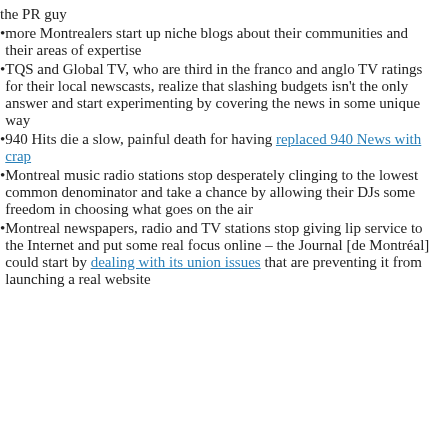the PR guy
more Montrealers start up niche blogs about their communities and their areas of expertise
TQS and Global TV, who are third in the franco and anglo TV ratings for their local newscasts, realize that slashing budgets isn't the only answer and start experimenting by covering the news in some unique way
940 Hits die a slow, painful death for having replaced 940 News with crap
Montreal music radio stations stop desperately clinging to the lowest common denominator and take a chance by allowing their DJs some freedom in choosing what goes on the air
Montreal newspapers, radio and TV stations stop giving lip service to the Internet and put some real focus online – the Journal [de Montréal] could start by dealing with its union issues that are preventing it from launching a real website